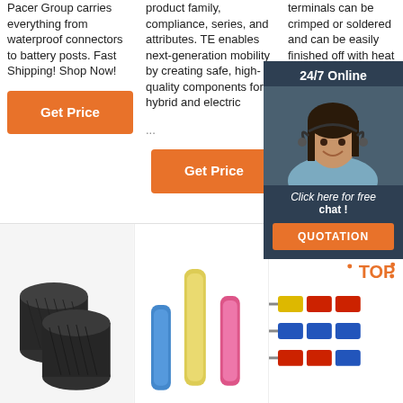Pacer Group carries everything from waterproof connectors to battery posts. Fast Shipping! Shop Now!
product family, compliance, series, and attributes. TE enables next-generation mobility by creating safe, high-quality components for hybrid and electric ...
terminals can be crimped or soldered and can be easily finished off with heat shrink insulation to protect connections. Insulated terminal most c...
[Figure (screenshot): 24/7 Online chat widget with customer service agent photo and QUOTATION button]
[Figure (photo): Black braided/corrugated flexible conduit tubes]
[Figure (photo): Colorful heat shrink butt connectors - blue, yellow/clear, pink]
[Figure (photo): Insulated electrical ring terminals assortment with TOP label]